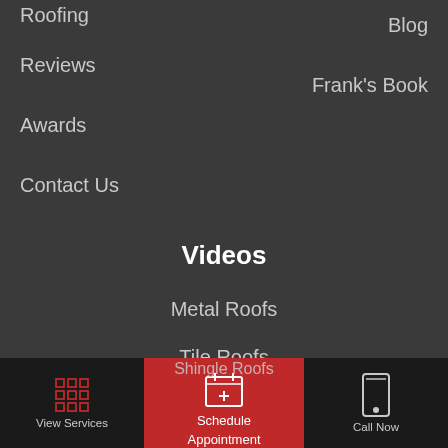Roofing
Blog
Reviews
Frank's Book
Awards
Contact Us
Videos
Metal Roofs
Tile Roofs
Shingle Roofs
View Services | Schedule Appointment | Call Now